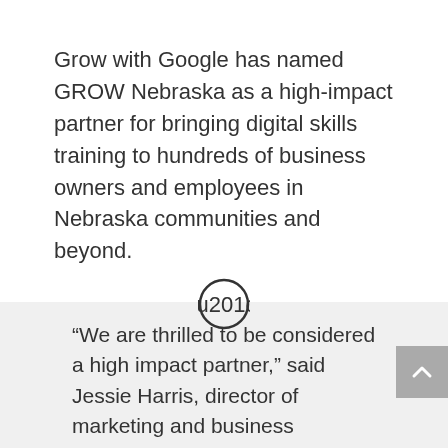Grow with Google has named GROW Nebraska as a high-impact partner for bringing digital skills training to hundreds of business owners and employees in Nebraska communities and beyond.
[Figure (illustration): Closing double quotation mark icon inside a circle]
“We are thrilled to be considered a high impact partner,” said Jessie Harris, director of marketing and business development at GROW Nebraska. “We truly believe in the promotion Google provides small